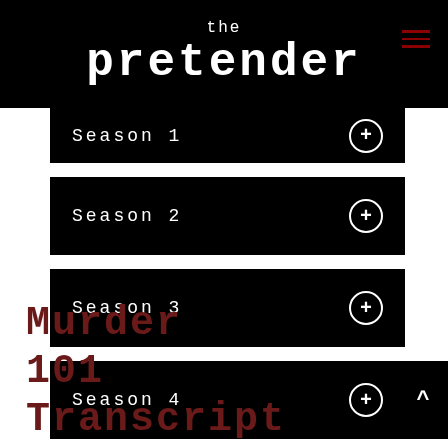the pretender
Season 1
Season 2
Season 3
Season 4
Movies
Murder 101 Transcript